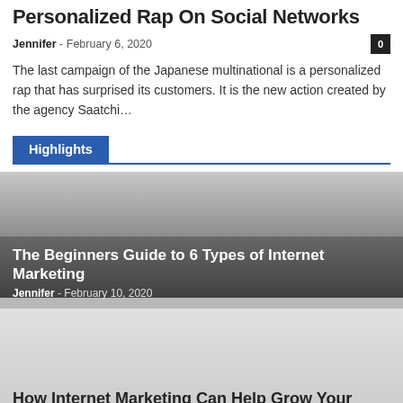Personalized Rap On Social Networks
Jennifer - February 6, 2020
The last campaign of the Japanese multinational is a personalized rap that has surprised its customers. It is the new action created by the agency Saatchi…
Highlights
[Figure (photo): Dark gradient image card for article: The Beginners Guide to 6 Types of Internet Marketing]
The Beginners Guide to 6 Types of Internet Marketing — Jennifer - February 10, 2020
[Figure (photo): Light grey gradient image card for article: How Internet Marketing Can Help Grow Your Business Online]
How Internet Marketing Can Help Grow Your Business Online